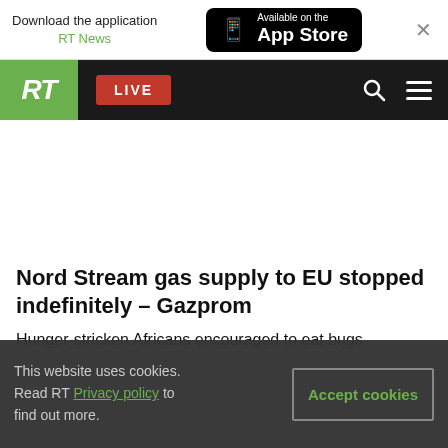Download the application RT News | Available on the App Store
[Figure (screenshot): RT news website navigation bar with green RT logo, red LIVE button, search and menu icons on black background]
Nord Stream gas supply to EU stopped indefinitely – Gazprom
Hunger-stricken Africans encouraged to eat bugs
This website uses cookies. Read RT Privacy policy to find out more.
Accept cookies